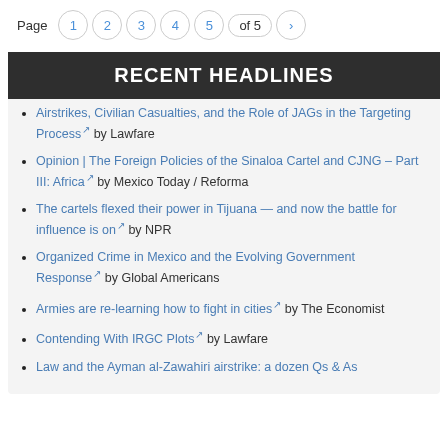Page 1 2 3 4 5 of 5 ›
RECENT HEADLINES
Airstrikes, Civilian Casualties, and the Role of JAGs in the Targeting Process  by Lawfare
Opinion | The Foreign Policies of the Sinaloa Cartel and CJNG – Part III: Africa  by Mexico Today / Reforma
The cartels flexed their power in Tijuana — and now the battle for influence is on  by NPR
Organized Crime in Mexico and the Evolving Government Response  by Global Americans
Armies are re-learning how to fight in cities  by The Economist
Contending With IRGC Plots  by Lawfare
Law and the Ayman al-Zawahiri airstrike: a dozen Qs & As